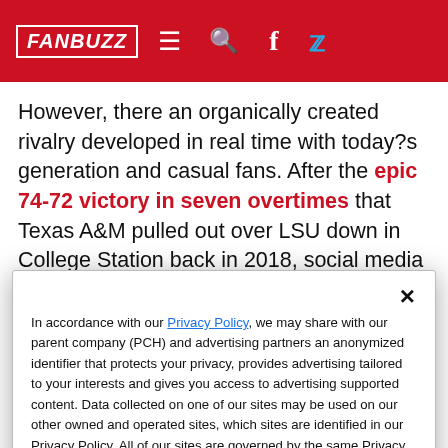FAN BUZZ — navigation header with hamburger menu, search, Facebook and Twitter icons
However, there an organically created rivalry developed in real time with today?s generation and casual fans. After the epic 74-72 victory in seven overtimes that Texas A&M pulled out over LSU down in College Station back in 2018, social media set itself on fire about that game. Aggie fans called it the best college game ever, LSU fans
In accordance with our Privacy Policy, we may share with our parent company (PCH) and advertising partners an anonymized identifier that protects your privacy, provides advertising tailored to your interests and gives you access to advertising supported content. Data collected on one of our sites may be used on our other owned and operated sites, which sites are identified in our Privacy Policy. All of our sites are governed by the same Privacy Policy, and by proceeding to access this site, you are consenting to that Privacy Policy.